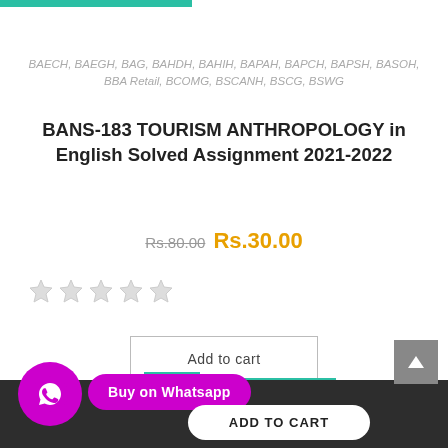BAECH, BAEGH, BAG, BAHDH, BAHIH, BAPAH, BAPCH, BAPSH, BASOH, BBA Retail, BCOMG, BSCANH, BSCG, BSWG
BANS-183 TOURISM ANTHROPOLOGY in English Solved Assignment 2021-2022
Rs.80.00 Rs.30.00
[Figure (other): Five empty star rating icons]
Add to cart
Order on Whatsapp
SALE!
Buy on Whatsapp
ADD TO CART